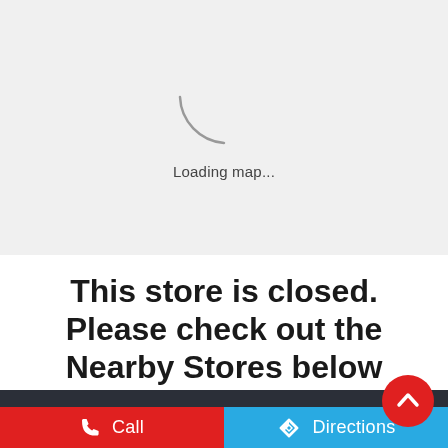[Figure (screenshot): Loading map spinner on a light gray background with circular arc indicator and 'Loading map...' text below]
Loading map...
This store is closed. Please check out the Nearby Stores below
Social Timeline
Call
Directions